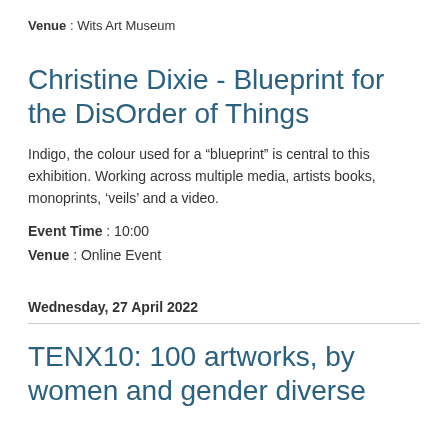Venue : Wits Art Museum
Christine Dixie - Blueprint for the DisOrder of Things
Indigo, the colour used for a “blueprint” is central to this exhibition. Working across multiple media, artists books, monoprints, ‘veils’ and a video.
Event Time : 10:00
Venue : Online Event
Wednesday, 27 April 2022
TENX10: 100 artworks, by women and gender diverse